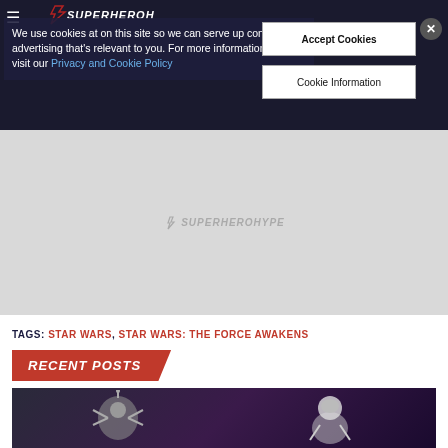[Figure (screenshot): SuperHeroHype website header with dark navy background, hamburger menu icon, and site logo in white italic text]
We use cookies at on this site so we can serve up content and advertising that's relevant to you. For more information, please visit our Privacy and Cookie Policy
[Figure (screenshot): OOPS! This gallery is no longer available - error message in red italic text on dark background]
[Figure (screenshot): Accept Cookies button and Cookie Information button on white background]
[Figure (screenshot): Gray advertisement/placeholder banner with SuperHeroHype watermark logo in center]
TAGS: STAR WARS, STAR WARS: THE FORCE AWAKENS
RECENT POSTS
[Figure (photo): Photo of Star Wars action figures against purple background - metallic droid/alien figure on left and pale humanoid figure on right]